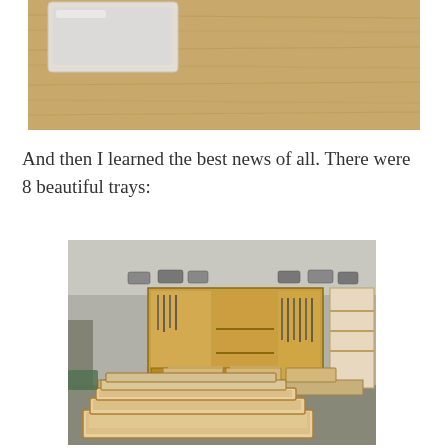[Figure (photo): Close-up photo of a wooden surface (light brown wood grain) with a white/clear plastic tray or case partially visible in the upper left area of the frame.]
And then I learned the best news of all. There were 8 beautiful trays:
[Figure (photo): Photo of a woodworking workshop showing a wall-mounted tool cabinet with organized tools, shelves, and hand planes displayed on top. In the foreground, multiple wooden trays (approximately 8) are laid out on a workbench — some flat on the table and several stacked/leaning in the lower foreground showing their framed construction with light wood panels.]